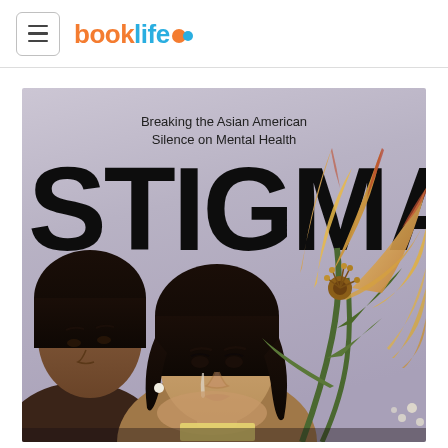booklife
[Figure (photo): Book cover of 'STIGMA: Breaking the Asian American Silence on Mental Health'. Large bold black text 'STIGMA' over a muted purple-grey background, with subtitle text above. Lower portion shows two young Asian women and a bouquet of orange-yellow lilies.]